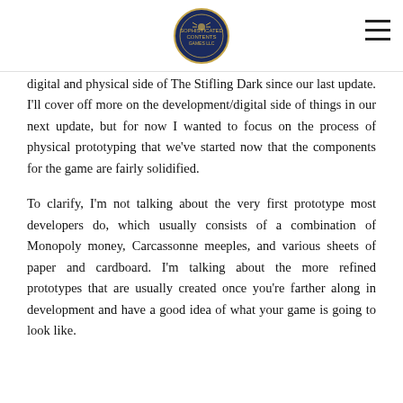[Logo and navigation hamburger menu]
digital and physical side of The Stifling Dark since our last update. I'll cover off more on the development/digital side of things in our next update, but for now I wanted to focus on the process of physical prototyping that we've started now that the components for the game are fairly solidified.
To clarify, I'm not talking about the very first prototype most developers do, which usually consists of a combination of Monopoly money, Carcassonne meeples, and various sheets of paper and cardboard. I'm talking about the more refined prototypes that are usually created once you're farther along in development and have a good idea of what your game is going to look like.